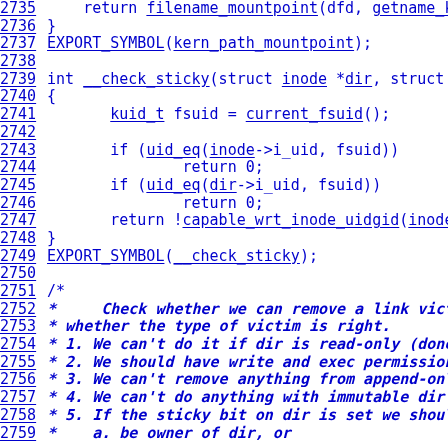Source code listing, lines 2735-2759, Linux kernel namei.c
2735     return filename_mountpoint(dfd, getname_kernel(na
2736 }
2737 EXPORT_SYMBOL(kern_path_mountpoint);
2738
2739 int __check_sticky(struct inode *dir, struct inode *inode)
2740 {
2741         kuid_t fsuid = current_fsuid();
2742
2743         if (uid_eq(inode->i_uid, fsuid))
2744                 return 0;
2745         if (uid_eq(dir->i_uid, fsuid))
2746                 return 0;
2747         return !capable_wrt_inode_uidgid(inode, CAP_FOW
2748 }
2749 EXPORT_SYMBOL(__check_sticky);
2750
2751 /*
2752  *     Check whether we can remove a link victim fron
2753  * whether the type of victim is right.
2754  * 1. We can't do it if dir is read-only (done in permiss
2755  * 2. We should have write and exec permissions on
2756  * 3. We can't remove anything from append-only dir
2757  * 4. We can't do anything with immutable dir (done i
2758  * 5. If the sticky bit on dir is set we should either
2759  *    a. be owner of dir, or